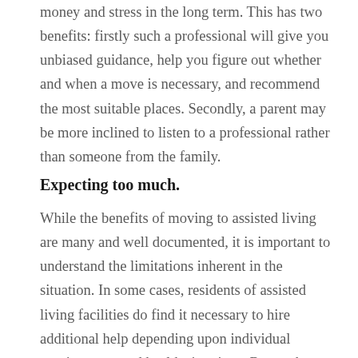money and stress in the long term. This has two benefits: firstly such a professional will give you unbiased guidance, help you figure out whether and when a move is necessary, and recommend the most suitable places. Secondly, a parent may be more inclined to listen to a professional rather than someone from the family.
Expecting too much.
While the benefits of moving to assisted living are many and well documented, it is important to understand the limitations inherent in the situation. In some cases, residents of assisted living facilities do find it necessary to hire additional help depending upon individual requirements and health situations. Remember assisted living is not the same as a nursing home. Seniors enjoy significant autonomy in assisted living places; they enjoy being part of a small but intimate, lively community with stimulating activities to keep them active and